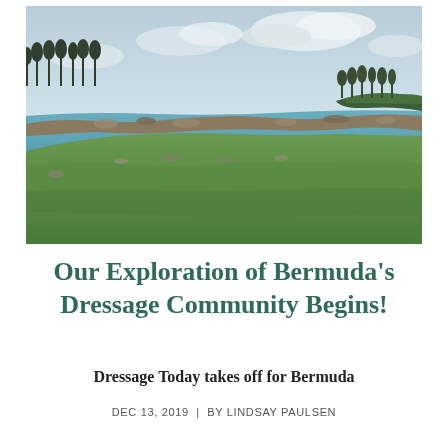[Figure (photo): Coastal landscape in Bermuda showing green grassy slope in foreground, rocky shoreline in middle ground, calm turquoise-blue ocean water, and trees along a distant peninsula under a partly cloudy sky.]
Our Exploration of Bermuda's Dressage Community Begins!
Dressage Today takes off for Bermuda
DEC 13, 2019  |  BY LINDSAY PAULSEN